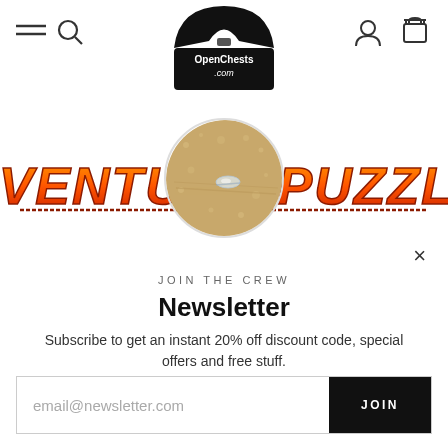[Figure (logo): OpenChests.com logo: open treasure chest with text 'OpenChests .com']
[Figure (illustration): Adventure Puzzles banner text in orange/red stylized font, partially obscured by product circle image]
[Figure (photo): Circular cropped photo showing a small transparent object on a sandy/wooden surface with water droplets]
JOIN THE CREW
Newsletter
Subscribe to get an instant 20% off discount code, special offers and free stuff.
email@newsletter.com
JOIN